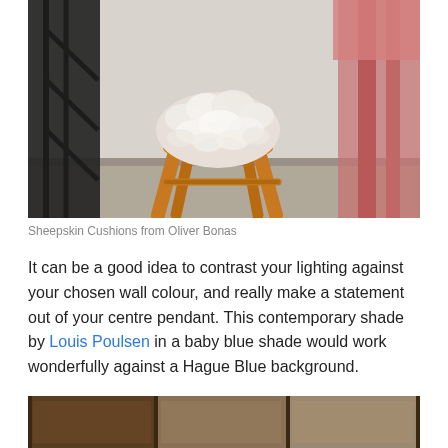[Figure (photo): Photo of a wooden stool with a fluffy white sheepskin cushion on top, flanked by a black metal frame/furniture on the left and pink wooden furniture on the right, on a grey floor against a white wall.]
Sheepskin Cushions from Oliver Bonas
It can be a good idea to contrast your lighting against your chosen wall colour, and really make a statement out of your centre pendant. This contemporary shade by Louis Poulsen in a baby blue shade would work wonderfully against a Hague Blue background.
[Figure (photo): Bottom portion of a photo showing what appears to be wooden framing or furniture details, partially cropped.]